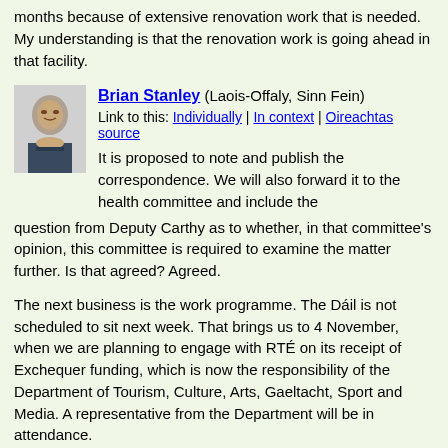months because of extensive renovation work that is needed. My understanding is that the renovation work is going ahead in that facility.
Brian Stanley (Laois-Offaly, Sinn Fein)
Link to this: Individually | In context | Oireachtas source
It is proposed to note and publish the correspondence. We will also forward it to the health committee and include the question from Deputy Carthy as to whether, in that committee's opinion, this committee is required to examine the matter further. Is that agreed? Agreed.
The next business is the work programme. The Dáil is not scheduled to sit next week. That brings us to 4 November, when we are planning to engage with RTÉ on its receipt of Exchequer funding, which is now the responsibility of the Department of Tourism, Culture, Arts, Gaeltacht, Sport and Media. A representative from the Department will be in attendance.
When we agreed our work programme to the end of the year last week, I mentioned that we might need to reschedule some engagements depending on availability. The secretariat received a response from the Department of Tourism, Culture, Arts, Gaeltacht, Sport and Media to advise that it is scheduled for oral parliamentary questions on 11 November, which is the date on which we wanted departmental officials to attend. Representatives of the Department of Transport were